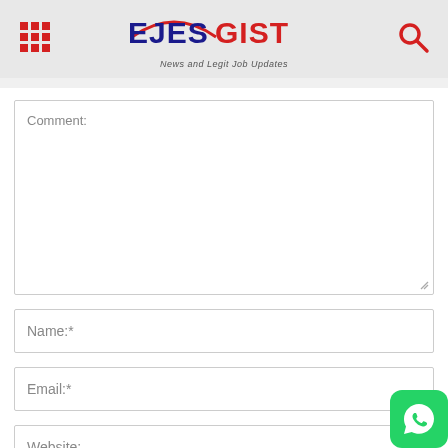EJESGIST - News and Legit Job Updates
Comment:
Name:*
Email:*
Website:
Save my name, email, and website in this browser for the next time